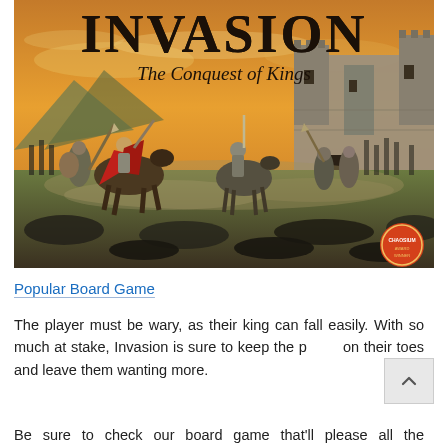[Figure (illustration): Book/board game cover art for 'INVASION: The Conquest of Kings' showing medieval battle scene with knights on horseback, soldiers with swords and spears, and a castle in the background under a dramatic orange sky. A red-caped king on horseback leads the charge.]
Popular Board Game
The player must be wary, as their king can fall easily. With so much at stake, Invasion is sure to keep the player on their toes and leave them wanting more.
Be sure to check our board game that'll please all the competitive...